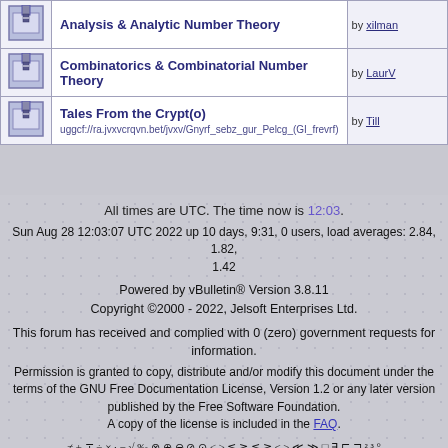Analysis & Analytic Number Theory
Combinatorics & Combinatorial Number Theory
Tales From the Crypt(o) uggcf://ra.jvxvcrqvn.bet/jvxv/Gnyrf_sebz_gur_Pelcg_(GI_frevrf)
All times are UTC. The time now is 12:03.
Sun Aug 28 12:03:07 UTC 2022 up 10 days, 9:31, 0 users, load averages: 2.84, 1.82, 1.42
Powered by vBulletin® Version 3.8.11
Copyright ©2000 - 2022, Jelsoft Enterprises Ltd.
This forum has received and complied with 0 (zero) government requests for information.
Permission is granted to copy, distribute and/or modify this document under the terms of the GNU Free Documentation License, Version 1.2 or any later version published by the Free Software Foundation.
A copy of the license is included in the FAQ.
≠ ± ∓ ÷ × · − √ ‰ ⊗ ⊕ ⊖ ⊘ ⊙ ≤ ≥ ≦ ≧ ≨ ≩ < > ≪ ≫ □ ∃ ⊑ ⊒ ² ³ °
∠ ⌊ ° ≡ ¬ ∥ ⊥ ⌈
≡ ≜ = α ∞ ≪ ≫ | | | | · ∏ ⊔ Σ ∧ ∨ ∩ ∪ ⊙ ⊕ ⊗ ▯ ▯ ◁ ▷
∅ \ C ↦ ↔ ∩ ∪ ⊆ ⊂ ∉ ⊆ ⊇ ⊃ ∦ ⊇ Θ ∈ ∉ ∋ ∌ ℕ ℤ ℚ ℝ ℂ ℵ ∃ ⌉⌊
¬ ∨ ∧ ⊕ → → ⇒ ⇐ ⇔ ∀ ∃ ∄ ∵ ∴ T ⊥ ⊢ ⊨ ⊢ ⊣ … ⋯ ⋮ ∴ ∵